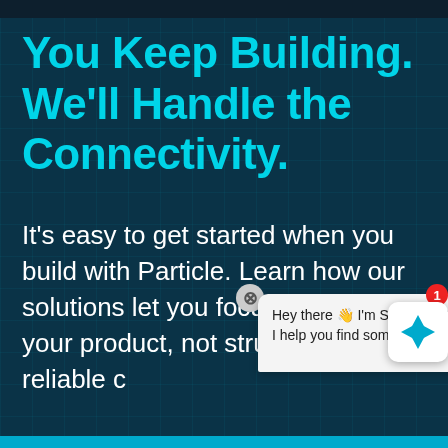You Keep Building. We'll Handle the Connectivity.
It's easy to get started when you build with Particle. Learn how our solutions let you focus on building your product, not struggling with reliable c…
[Figure (screenshot): SparkBot chat widget bubble saying 'Hey there 👋 I'm SparkBot! Can I help you find something?' with a close button and the SparkBot icon with a red badge showing '1']